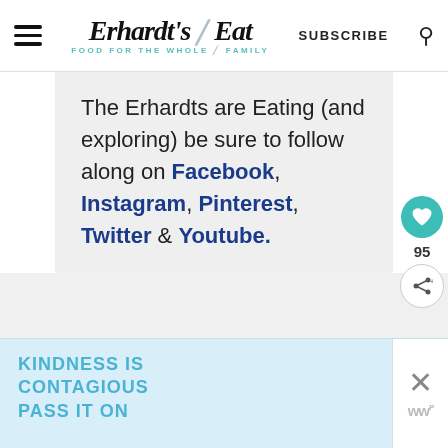Erhardt's Eat — FOOD FOR THE WHOLE FAMILY | SUBSCRIBE | Search
The Erhardts are Eating (and exploring) be sure to follow along on Facebook, Instagram, Pinterest, Twitter & Youtube.
[Figure (screenshot): Side buttons: heart/save button (teal circle) with count 95, and share button below]
[Figure (screenshot): Gray section below main content area]
KINDNESS IS CONTAGIOUS PASS IT ON